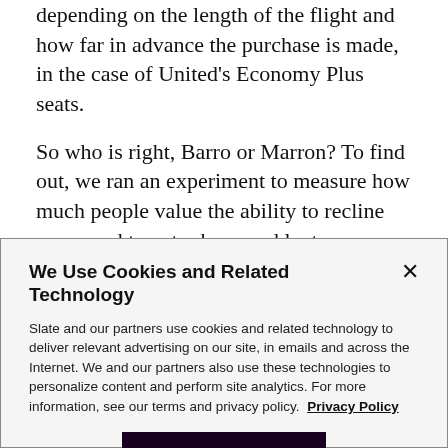depending on the length of the flight and how far in advance the purchase is made, in the case of United's Economy Plus seats.
So who is right, Barro or Marron? To find out, we ran an experiment to measure how much people value the ability to recline compared to extra knee and laptop room.
We Use Cookies and Related Technology
Slate and our partners use cookies and related technology to deliver relevant advertising on our site, in emails and across the Internet. We and our partners also use these technologies to personalize content and perform site analytics. For more information, see our terms and privacy policy.  Privacy Policy